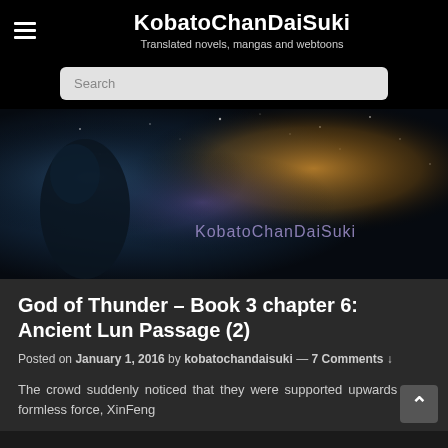KobatoChanDaiSuki — Translated novels, mangas and webtoons
Search
[Figure (illustration): Dark fantasy banner image showing a silhouetted figure against a blue and gold cosmic background with stars and nebula effects, with 'KobatoChanDaiSuki' text overlay on the right side]
God of Thunder – Book 3 chapter 6: Ancient Lun Passage (2)
Posted on January 1, 2016 by kobatochandaisuki — 7 Comments ↓
The crowd suddenly noticed that they were supported upwards by a formless force, XinFeng